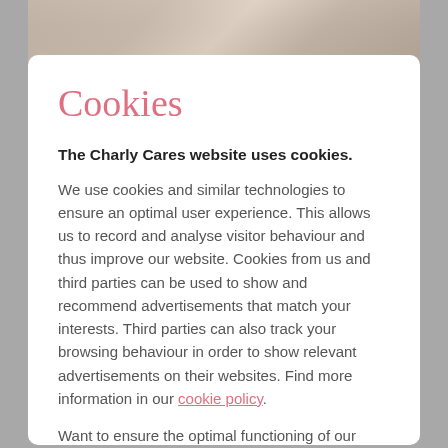[Figure (photo): Partial photo strip at top showing people (woman and child smiling), partially obscured by modal overlay]
Cookies
The Charly Cares website uses cookies.
We use cookies and similar technologies to ensure an optimal user experience. This allows us to record and analyse visitor behaviour and thus improve our website. Cookies from us and third parties can be used to show and recommend advertisements that match your interests. Third parties can also track your browsing behaviour in order to show relevant advertisements on their websites. Find more information in our cookie policy.
Want to ensure the optimal functioning of our website ? Then accept our cookies by clicking 'Agree'.